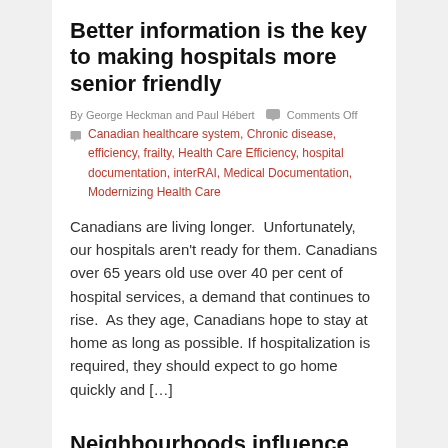Better information is the key to making hospitals more senior friendly
By George Heckman and Paul Hébert  Comments Off
Canadian healthcare system, Chronic disease, efficiency, frailty, Health Care Efficiency, hospital documentation, interRAI, Medical Documentation, Modernizing Health Care
Canadians are living longer.  Unfortunately, our hospitals aren't ready for them. Canadians over 65 years old use over 40 per cent of hospital services, a demand that continues to rise.  As they age, Canadians hope to stay at home as long as possible. If hospitalization is required, they should expect to go home quickly and […]
Neighbourhoods influence our health